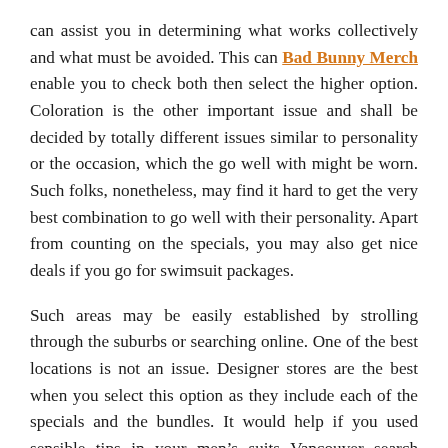can assist you in determining what works collectively and what must be avoided. This can Bad Bunny Merch enable you to check both then select the higher option. Coloration is the other important issue and shall be decided by totally different issues similar to personality or the occasion, which the go well with might be worn. Such folks, nonetheless, may find it hard to get the very best combination to go well with their personality. Apart from counting on the specials, you may also get nice deals if you go for swimsuit packages.
Such areas may be easily established by strolling through the suburbs or searching online. One of the best locations is not an issue. Designer stores are the best when you select this option as they include each of the specials and the bundles. It would help if you used sensible tips in your men’s suits Vancouver search equivalent to targeting weekly specials and seasonal deals. Using such specials, you can be safe with the very best offers. If you are one of these